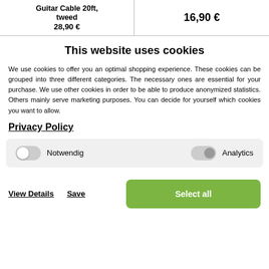| Guitar Cable 20ft, tweed
28,90 € | 16,90 € |
This website uses cookies
We use cookies to offer you an optimal shopping experience. These cookies can be grouped into three different categories. The necessary ones are essential for your purchase. We use other cookies in order to be able to produce anonymized statistics. Others mainly serve marketing purposes. You can decide for yourself which cookies you want to allow.
Privacy Policy
Notwendig   Analytics
View Details   Save   Select all